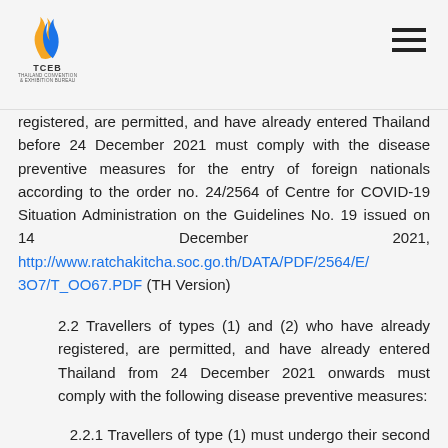TCEB — Thailand Convention & Exhibition Bureau logo and navigation
registered, are permitted, and have already entered Thailand before 24 December 2021 must comply with the disease preventive measures for the entry of foreign nationals according to the order no. 24/2564 of Centre for COVID-19 Situation Administration on the Guidelines No. 19 issued on 14 December 2021, http://www.ratchakitcha.soc.go.th/DATA/PDF/2564/E/3O7/T_OO67.PDF (TH Version)
2.2 Travellers of types (1) and (2) who have already registered, are permitted, and have already entered Thailand from 24 December 2021 onwards must comply with the following disease preventive measures:
2.2.1 Travellers of type (1) must undergo their second COVID-19 test using RT-PCR technique from authorized public or private health organizations on day 5